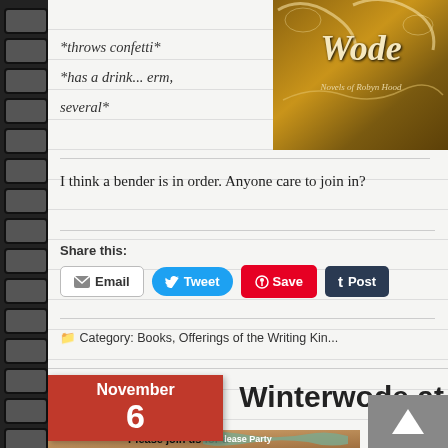[Figure (illustration): Book cover with ornate golden-brown background and decorative calligraphic text 'Wode' with subtitle 'Novels of Robyn Hood']
*throws confetti* *has a drink... erm, several*
I think a bender is in order. Anyone care to join in?
Share this:
Email | Tweet | Save | Post
Category: Books, Offerings of the Writing Kin...
November 6
Winterwode at
[Figure (illustration): Party invitation image with 'Please join us for a Release Party' text on scroll banner with warm brownish background]